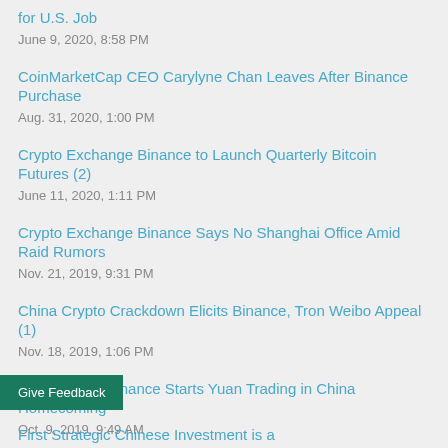for U.S. Job
June 9, 2020, 8:58 PM
CoinMarketCap CEO Carylyne Chan Leaves After Binance Purchase
Aug. 31, 2020, 1:00 PM
Crypto Exchange Binance to Launch Quarterly Bitcoin Futures (2)
June 11, 2020, 1:11 PM
Crypto Exchange Binance Says No Shanghai Office Amid Raid Rumors
Nov. 21, 2019, 9:31 PM
China Crypto Crackdown Elicits Binance, Tron Weibo Appeal (1)
Nov. 18, 2019, 1:06 PM
Crypto Giant Binance Starts Yuan Trading in China Homecoming
Oct. 9, 2019, 9:49 AM
Give Feedback
First Strategic Chinese Investment is a